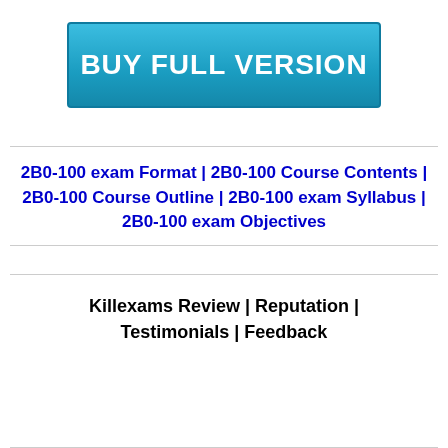[Figure (other): Blue button with white bold text reading BUY FULL VERSION]
2B0-100 exam Format | 2B0-100 Course Contents | 2B0-100 Course Outline | 2B0-100 exam Syllabus | 2B0-100 exam Objectives
Killexams Review | Reputation | Testimonials | Feedback